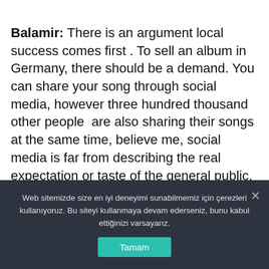Balamir: There is an argument local success comes first . To sell an album in Germany, there should be a demand. You can share your song through social media, however three hundred thousand other people  are also sharing their songs at the same time, believe me, social media is far from describing the real expectation or taste of the general public. I wish we could get the support here in our country first. Besides, whenever you are invited to Europe, they expect you to come with tambur, saz, I mean local folkloric
Web sitemizde size en iyi deneyimi sunabilmemiz için çerezleri kullanıyoruz. Bu siteyi kullanmaya devam ederseniz, bunu kabul ettiğinizi varsayarız.
Tamam